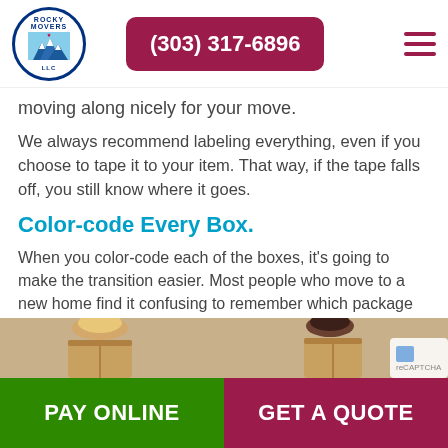(303) 317-6896
moving along nicely for your move.
We always recommend labeling everything, even if you choose to tape it to your item. That way, if the tape falls off, you still know where it goes.
Color-code Every Box.
When you color-code each of the boxes, it's going to make the transition easier. Most people who move to a new home find it confusing to remember which package goes where. Though you may write in permanent marker, you may have the box situated in a way that you can't see it.
[Figure (photo): Two people holding moving boxes, partially visible at bottom of page]
PAY ONLINE | GET A QUOTE